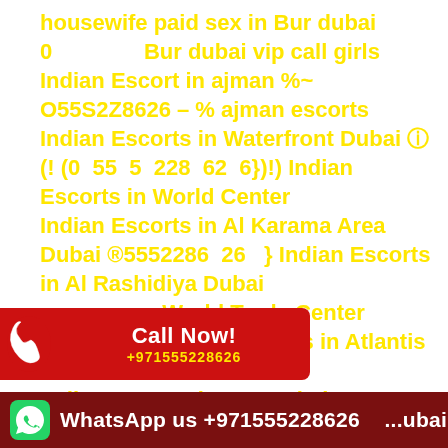housewife paid sex in Bur dubai 0                    Bur dubai vip call girls
Indian Escort in ajman %~ O55S2Z8626 ~ % ajman escorts
Indian Escorts in Waterfront Dubai ⓘ (! (0  55  5  228  62  6})!) Indian Escorts in World Center
Indian Escorts in Al Karama Area Dubai ®5552286  26   } Indian Escorts in Al Rashidiya Dubai
                    World Trade Center
                    Indian Escorts in Atlantis Dubai
Indian Escorts in Bur Dubai ®5552286  26   }
                                                      Dubai
[Figure (infographic): Red banner with phone icon and 'Call Now! +971555228626']
[Figure (infographic): Dark red banner with WhatsApp icon and 'WhatsApp us +971555228626 ... Dubai']